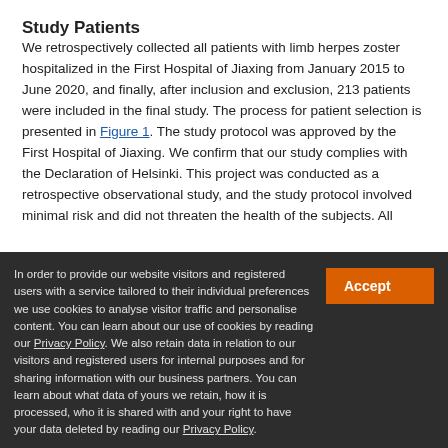Study Patients
We retrospectively collected all patients with limb herpes zoster hospitalized in the First Hospital of Jiaxing from January 2015 to June 2020, and finally, after inclusion and exclusion, 213 patients were included in the final study. The process for patient selection is presented in Figure 1. The study protocol was approved by the First Hospital of Jiaxing. We confirm that our study complies with the Declaration of Helsinki. This project was conducted as a retrospective observational study, and the study protocol involved minimal risk and did not threaten the health of the subjects. All
In order to provide our website visitors and registered users with a service tailored to their individual preferences we use cookies to analyse visitor traffic and personalise content. You can learn about our use of cookies by reading our Privacy Policy. We also retain data in relation to our visitors and registered users for internal purposes and for sharing information with our business partners. You can learn about what data of yours we retain, how it is processed, who it is shared with and your right to have your data deleted by reading our Privacy Policy.
If you agree to our use of cookies and the contents of our Privacy Policy please click 'accept'.